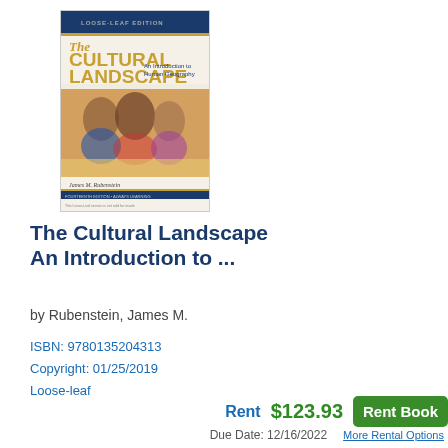[Figure (photo): Book cover of 'The Cultural Landscape: An Introduction to Human Geography' Loose-Leaf Edition by James M. Rubenstein, showing three children looking at something together on a sandy background.]
The Cultural Landscape An Introduction to ...
by Rubenstein, James M.
ISBN: 9780135204313
Copyright: 01/25/2019
Loose-leaf
Rent   $123.93   Rent Book
Due Date: 12/16/2022   More Rental Options
Buy New   $131.32   Buy New